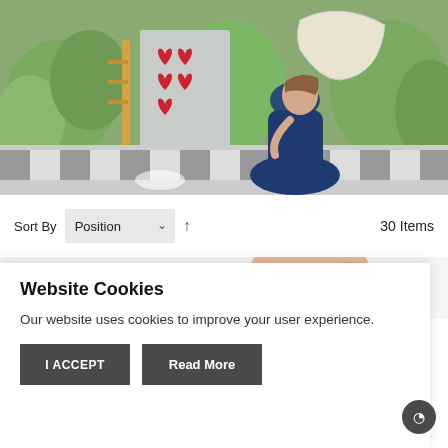[Figure (photo): A young girl in a navy blue dress holding a white parasol/umbrella, posed in an Alice in Wonderland themed setting with topiary hedges, heart decorations, and a black-and-white checkered floor.]
Sort By  Position  ▲  30 Items
[Figure (photo): Partial view of a product thumbnail below the sort bar.]
Website Cookies
Our website uses cookies to improve your user experience.
I ACCEPT  Read More